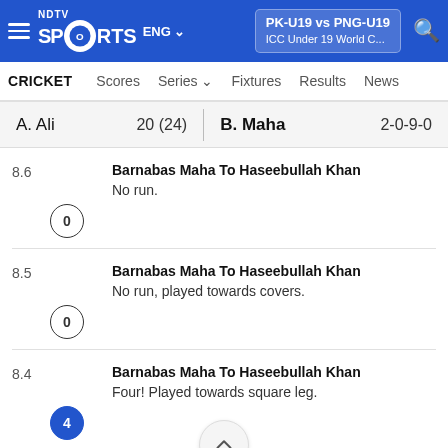NDTV Sports | ENG | PK-U19 vs PNG-U19 | ICC Under 19 World C...
CRICKET  Scores  Series  Fixtures  Results  News
| Player | Score | Player | Figures |
| --- | --- | --- | --- |
| A. Ali | 20 (24) | B. Maha | 2-0-9-0 |
8.6 | Barnabas Maha To Haseebullah Khan | 0 | No run.
8.5 | Barnabas Maha To Haseebullah Khan | 0 | No run, played towards covers.
8.4 | Barnabas Maha To Haseebullah Khan | 4 | Four! Played towards square leg.
8.3 | Barnabas Maha To Haseebullah Khan | 0 | No run, played towards mid on.